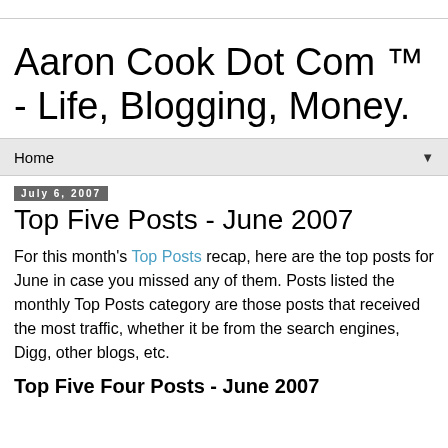Aaron Cook Dot Com ™ - Life, Blogging, Money.
Home
July 6, 2007
Top Five Posts - June 2007
For this month's Top Posts recap, here are the top posts for June in case you missed any of them. Posts listed the monthly Top Posts category are those posts that received the most traffic, whether it be from the search engines, Digg, other blogs, etc.
Top Five Four Posts - June 2007